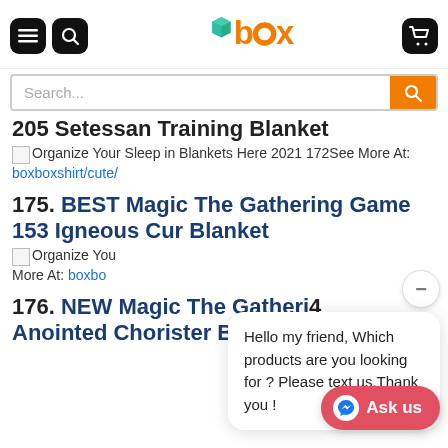box logo header with search bar
205 Setessan Training Blanket
Organize Your Sleep in Blankets Here 2021 172See More At: boxboxshirt/cute/
175. BEST Magic The Gathering Game 153 Igneous Cur Blanket
Organize You... More At: boxbo...
Hello my friend, Which products are you looking for ? Please text us.Thank you !
176. NEW Magic The Gathering Game 4 Anointed Chorister Blanket